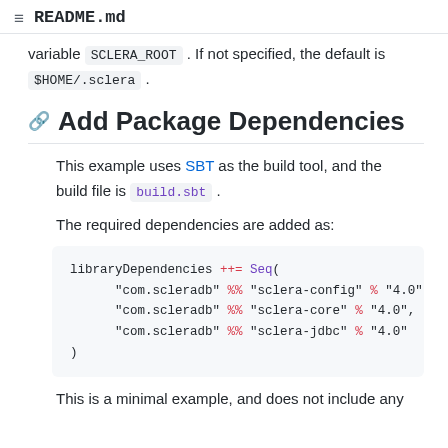README.md
variable SCLERA_ROOT . If not specified, the default is $HOME/.sclera .
Add Package Dependencies
This example uses SBT as the build tool, and the build file is build.sbt .
The required dependencies are added as:
libraryDependencies ++= Seq(
    "com.scleradb" %% "sclera-config" % "4.0"
    "com.scleradb" %% "sclera-core" % "4.0",
    "com.scleradb" %% "sclera-jdbc" % "4.0"
)
This is a minimal example, and does not include any